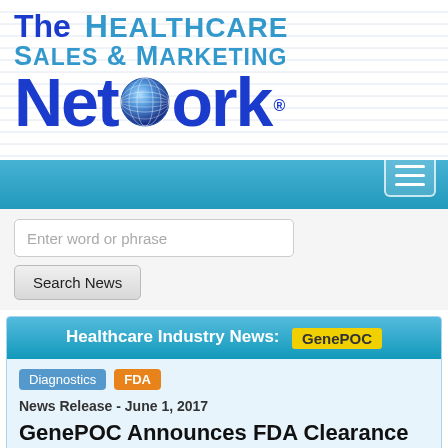[Figure (logo): The Healthcare Sales & Marketing Network logo with globe icon]
[Figure (screenshot): Navigation bar with hamburger menu button]
[Figure (screenshot): Search input field with placeholder 'Enter word or phrase' and Search News button]
Healthcare Industry News: GenePOC
Diagnostics  FDA
News Release - June 1, 2017
GenePOC Announces FDA Clearance for Revogene(TM) Instrument and its GBS